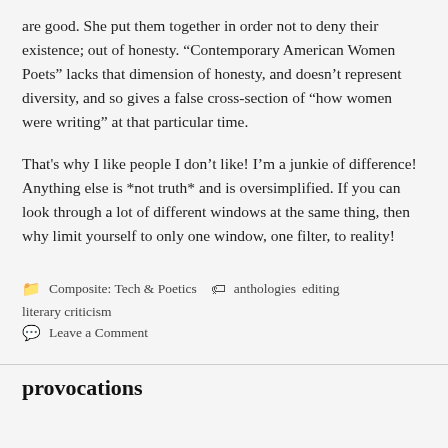are good. She put them together in order not to deny their existence; out of honesty. “Contemporary American Women Poets” lacks that dimension of honesty, and doesn’t represent diversity, and so gives a false cross-section of “how women were writing” at that particular time.
That's why I like people I don’t like! I’m a junkie of difference! Anything else is *not truth* and is oversimplified. If you can look through a lot of different windows at the same thing, then why limit yourself to only one window, one filter, to reality!
Composite: Tech & Poetics  anthologies  editing  literary criticism  Leave a Comment
provocations